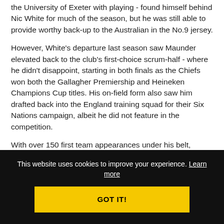The following year, Maunder - who was combining studies at the University of Exeter with playing - found himself behind Nic White for much of the season, but he was still able to provide worthy back-up to the Australian in the No.9 jersey.
However, White's departure last season saw Maunder elevated back to the club's first-choice scrum-half - where he didn't disappoint, starting in both finals as the Chiefs won both the Gallagher Premiership and Heineken Champions Cup titles. His on-field form also saw him drafted back into the England training squad for their Six Nations campaign, albeit he did not feature in the competition.
With over 150 first team appearances under his belt, Maunder's big-game experience has made him a vital cog in the Chiefs' overall game plan.
This website uses cookies to improve your experience. Learn more
GOT IT!